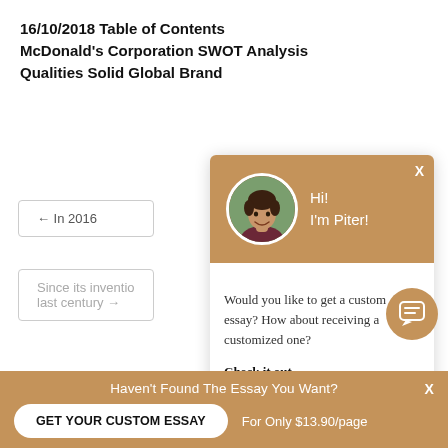16/10/2018 Table of Contents
McDonald's Corporation SWOT Analysis
Qualities Solid Global Brand
← In 2016
Since its inventio last century →
[Figure (screenshot): Chat popup widget with avatar photo of a young man, tan/brown header, greeting 'Hi! I'm Piter!', body text asking about custom essay, and 'Check it out' link. Includes a close X button and a circular chat icon button.]
Would you like to get a custom essay? How about receiving a customized one?
Check it out
Haven't Found The Essay You Want? GET YOUR CUSTOM ESSAY For Only $13.90/page X